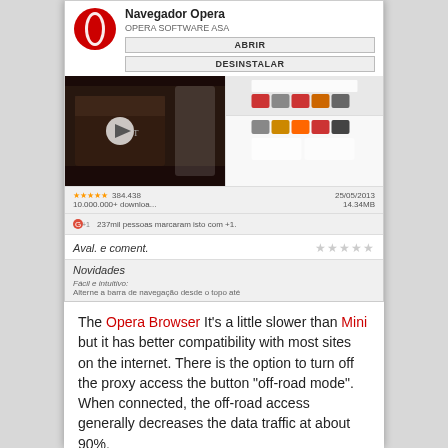[Figure (screenshot): App store listing screenshot for Navegador Opera (Opera Browser) by Opera Software ASA, showing logo, ABRIR and DESINSTALAR buttons, video screenshot with play button, side thumbnails, star rating 384,438 reviews, 10,000,000+ downloads, 25/05/2013, 14.34MB, 237mil pessoas marcaram isto com +1, Aval. e coment. with empty stars, Novidades section with 'Fácil e intuitivo:' and 'Alterne a barra de navegação desde o topo até']
The Opera Browser It's a little slower than Mini but it has better compatibility with most sites on the internet. There is the option to turn off the proxy access the button "off-road mode". When connected, the off-road access generally decreases the data traffic at about 90%.
[Figure (screenshot): Bottom screenshot showing Opera browser interface with 'Salvar captura de tela...' black bar at top and address/search bar at bottom]